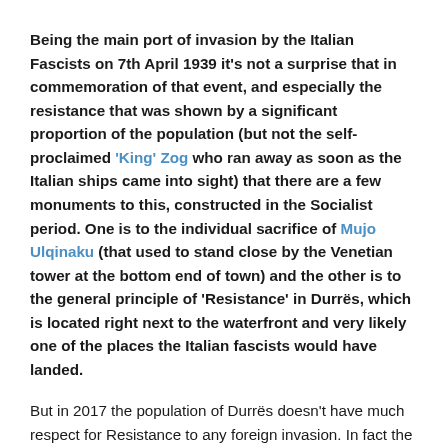Being the main port of invasion by the Italian Fascists on 7th April 1939 it's not a surprise that in commemoration of that event, and especially the resistance that was shown by a significant proportion of the population (but not the self-proclaimed 'King' Zog who ran away as soon as the Italian ships came into sight) that there are a few monuments to this, constructed in the Socialist period. One is to the individual sacrifice of Mujo Ulqinaku (that used to stand close by the Venetian tower at the bottom end of town) and the other is to the general principle of 'Resistance' in Durrës, which is located right next to the waterfront and very likely one of the places the Italian fascists would have landed.
But in 2017 the population of Durrës doesn't have much respect for Resistance to any foreign invasion. In fact the more foreign goods, foreign fast food and foreign culture they can access the better. In some senses more of a necessity than a wish as they have overseen the wholesale destruction of any industry which might provide them with the basic necessities of life. And, of course, how can anyone possibly survive without the internationally recognised destroyer of teeth and promoter of